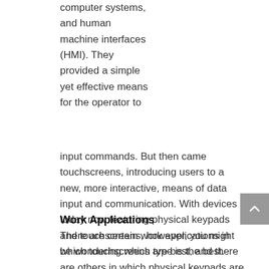computer systems, and human machine interfaces (HMI). They provided a simple yet effective means for the operator to input commands. But then came touchscreens, introducing users to a new, more interactive, means of data input and communication. With devices today now featuring physical keypads and touchscreens, however, you might be wondering which type is the best.
Work Applications
There are certain work applications in which touchscreens are best, and there are others in which physical keypads are best. If employees are wearing gloves, then a mechanical keypad is the preferred choice, as mechanical keypads...